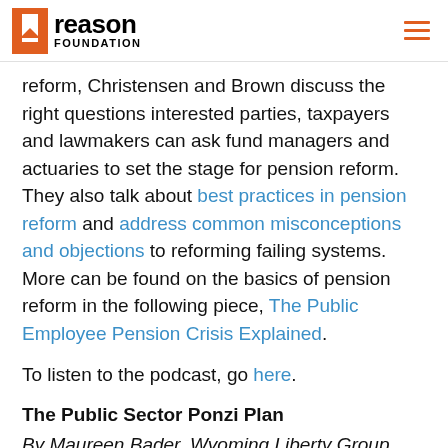Reason Foundation
reform, Christensen and Brown discuss the right questions interested parties, taxpayers and lawmakers can ask fund managers and actuaries to set the stage for pension reform. They also talk about best practices in pension reform and address common misconceptions and objections to reforming failing systems. More can be found on the basics of pension reform in the following piece, The Public Employee Pension Crisis Explained.
To listen to the podcast, go here.
The Public Sector Ponzi Plan
By Maureen Bader, Wyoming Liberty Group, and Lance Christensen, Reason Foundation